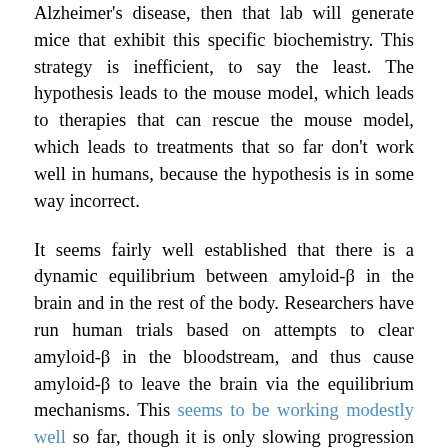Alzheimer's disease, then that lab will generate mice that exhibit this specific biochemistry. This strategy is inefficient, to say the least. The hypothesis leads to the mouse model, which leads to therapies that can rescue the mouse model, which leads to treatments that so far don't work well in humans, because the hypothesis is in some way incorrect.
It seems fairly well established that there is a dynamic equilibrium between amyloid-β in the brain and in the rest of the body. Researchers have run human trials based on attempts to clear amyloid-β in the bloodstream, and thus cause amyloid-β to leave the brain via the equilibrium mechanisms. This seems to be working modestly well so far, though it is only slowing progression of Alzheimer's disease. Amyloid-β is created in both the brain and the body, but which of these is the important source when it comes to the onset of Alzheimer's disease? In today's